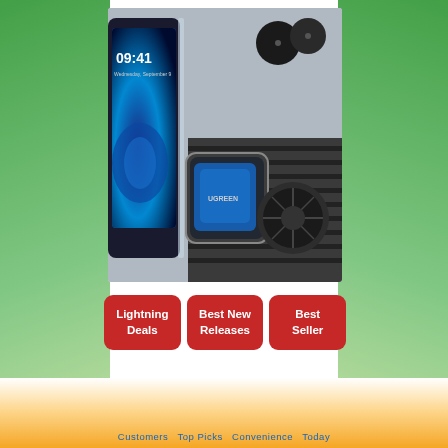[Figure (photo): Product photo of a magnetic car phone mount (vent clip type, UGREEN brand) showing a smartphone with 09:41 on screen attached to a car air vent via a round magnetic holder. Two circular metal plates also shown in upper right corner of image.]
Lightning Deals
Best New Releases
Best Seller
Customers Top Picks  Convenience  Today